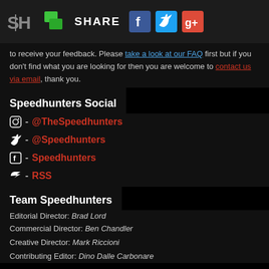SH | SHARE [Facebook] [Twitter] [Google+]
to receive your feedback. Please take a look at our FAQ first but if you don't find what you are looking for then you are welcome to contact us via email, thank you.
Speedhunters Social
[Instagram icon] - @TheSpeedhunters
[Twitter icon] - @Speedhunters
[Facebook icon] - Speedhunters
[RSS icon] - RSS
Team Speedhunters
Editorial Director: Brad Lord
Commercial Director: Ben Chandler
Creative Director: Mark Riccioni
Contributing Editor: Dino Dalle Carbonare